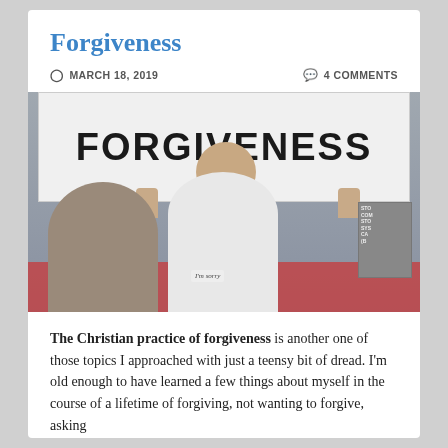Forgiveness
MARCH 18, 2019   4 COMMENTS
[Figure (photo): A man holding a large white sign reading FORGIVENESS above his head. He wears a white t-shirt reading 'I'm sorry'. A woman stands to his left. They are in an outdoor or warehouse setting with red structures behind them.]
The Christian practice of forgiveness is another one of those topics I approached with just a teensy bit of dread. I'm old enough to have learned a few things about myself in the course of a lifetime of forgiving, not wanting to forgive, asking